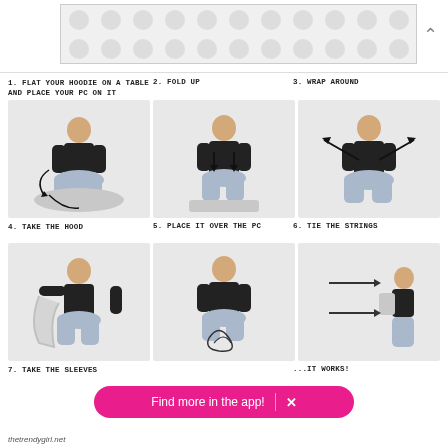[Figure (other): Polka dot advertisement banner at the top of the page]
1. FLAT YOUR HOODIE ON A TABLE AND PLACE YOUR PC ON IT
2. FOLD UP
3. WRAP AROUND
[Figure (photo): Step 1: Person kneeling with hoodie flat, circular arrow indicating rotation]
[Figure (photo): Step 2: Person folding hoodie up, arrows pointing down]
[Figure (photo): Step 3: Person wrapping hoodie, diagonal arrows pointing outward]
4. TAKE THE HOOD
5. PLACE IT OVER THE PC
6. TIE THE STRINGS
[Figure (photo): Step 4: Person taking the hood of the hoodie, kneeling]
[Figure (photo): Step 5: Person placing hoodie over PC, with string loops drawn]
[Figure (photo): Step 6: Person with finished hoodie laptop case, arrows showing result]
7. TAKE THE SLEEVES
...IT WORKS!
[Figure (screenshot): Pink app download banner: Find more in the app! X]
thetrendygirl.net